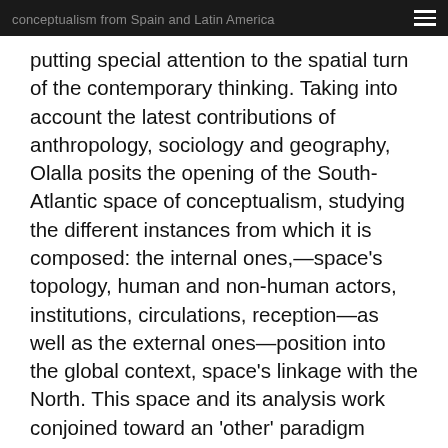conceptualism from Spain and Latin America
putting special attention to the spatial turn of the contemporary thinking. Taking into account the latest contributions of anthropology, sociology and geography, Olalla posits the opening of the South-Atlantic space of conceptualism, studying the different instances from which it is composed: the internal ones,—space's topology, human and non-human actors, institutions, circulations, reception—as well as the external ones—position into the global context, space's linkage with the North. This space and its analysis work conjoined toward an 'other' paradigm beyond the borders of the modern/colonial world system, from which they try to get far away, although they are still working inevitably from its interior. In order to clarify this theoretical